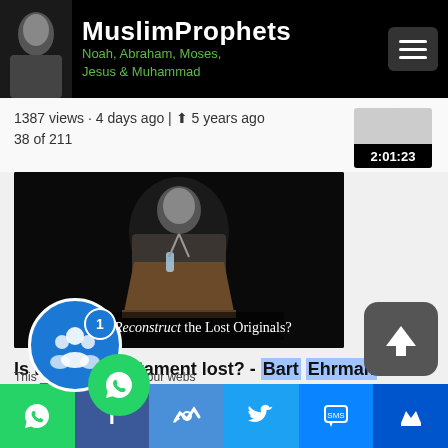MuslimProphets – Noah, Abraham, Moses, Jesus & Muhammad
1387 views · 4 days ago | ⬆ 5 years ago
38 of 211
2:01:23
[Figure (screenshot): Video thumbnail showing a man at a podium with overlay text: Can We Reconstruct the Lost Originals?]
Is the New Testament lost? - Bart Ehrman vs Daniel Wallace
[Figure (other): Social share bar with WhatsApp, Facebook, Like, Twitter, SMS, and Crown icons. Floating group icon with badge 1 and online indicator. Scroll-to-top button.]